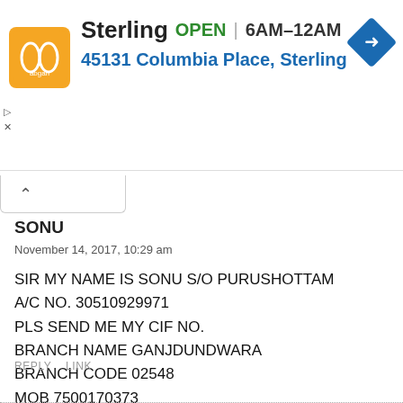[Figure (screenshot): Ad banner for Sterling store showing logo, OPEN status, hours 6AM-12AM, address 45131 Columbia Place Sterling, and navigation arrow icon]
SONU
November 14, 2017, 10:29 am
SIR MY NAME IS SONU S/O PURUSHOTTAM
A/C NO. 30510929971
PLS SEND ME MY CIF NO.
BRANCH NAME GANJDUNDWARA
BRANCH CODE 02548
MOB 7500170373
9205247946
REPLY   LINK